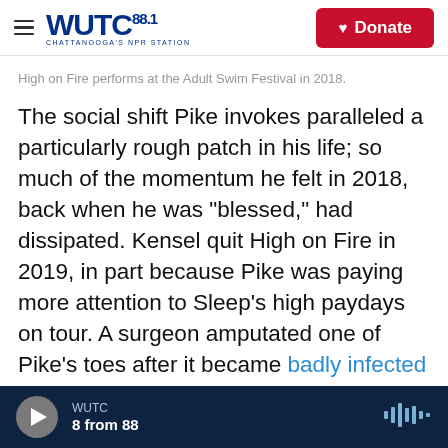WUTC 88.1 CHATTANOOGA'S NPR STATION | Donate
High on Fire performs at the Adult Swim Festival in 2018.
The social shift Pike invokes paralleled a particularly rough patch in his life; so much of the momentum he felt in 2018, back when he was "blessed," had dissipated. Kensel quit High on Fire in 2019, in part because Pike was paying more attention to Sleep's high paydays on tour. A surgeon amputated one of Pike's toes after it became badly infected in a European club's shower stall, the first in a string of foot woes that hindered his ability to walk. Next, the pandemic eliminated
WUTC | 8 from 88